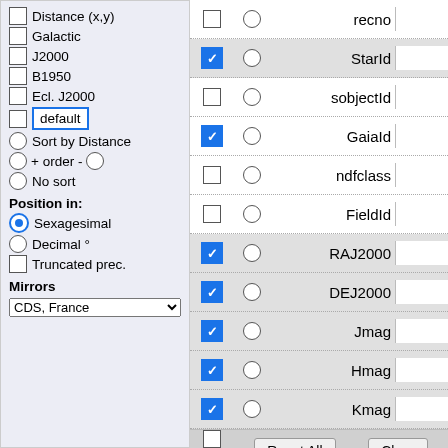Distance (x,y)
Galactic
J2000
B1950
Ecl. J2000
default
Sort by Distance
+ order -
No sort
Position in:
Sexagesimal
Decimal °
Truncated prec.
Mirrors
CDS, France
| checked | radio | field | input |
| --- | --- | --- | --- |
| unchecked | empty | recno |  |
| checked | empty | StarId |  |
| unchecked | empty | sobjectId |  |
| checked | empty | GaiaId |  |
| unchecked | empty | ndfclass |  |
| unchecked | empty | FieldId |  |
| checked | empty | RAJ2000 |  |
| checked | empty | DEJ2000 |  |
| checked | empty | Jmag |  |
| checked | empty | Hmag |  |
| checked | empty | Kmag |  |
| unchecked | empty | VmagJK |  |